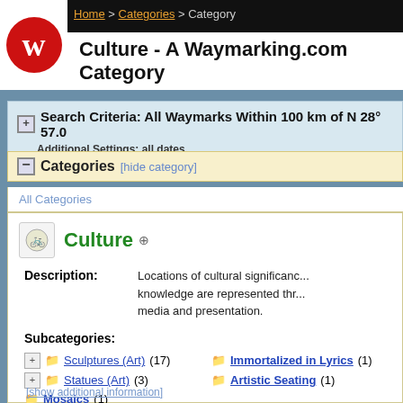Home > Categories > Category
Culture - A Waymarking.com Category
Search Criteria: All Waymarks Within 100 km of N 28° 57.0
Additional Settings: all dates
Categories [hide category]
All Categories
Culture
Description:
Locations of cultural significance... knowledge are represented through media and presentation.
Subcategories:
Sculptures (Art) (17)
Immortalized in Lyrics (1)
Statues (Art) (3)
Artistic Seating (1)
Mosaics (1)
[show additional information]